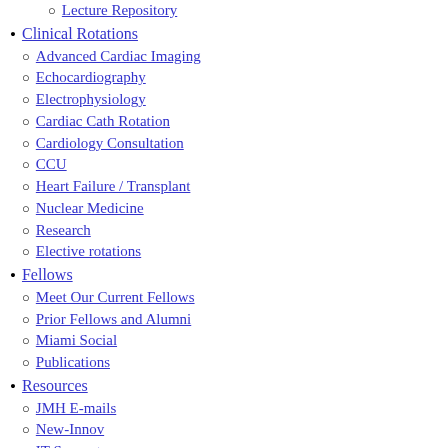Lecture Repository
Clinical Rotations
Advanced Cardiac Imaging
Echocardiography
Electrophysiology
Cardiac Cath Rotation
Cardiology Consultation
CCU
Heart Failure / Transplant
Nuclear Medicine
Research
Elective rotations
Fellows
Meet Our Current Fellows
Prior Fellows and Alumni
Miami Social
Publications
Resources
JMH E-mails
New-Innov
IT Support
Radiation Safety